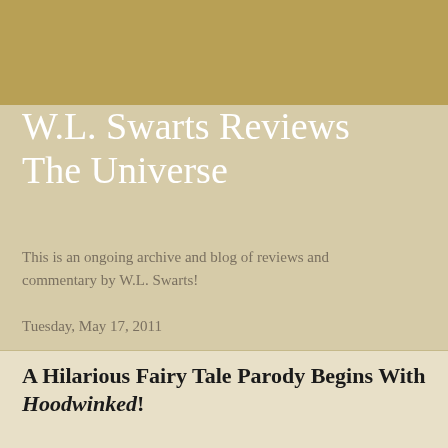W.L. Swarts Reviews The Universe
This is an ongoing archive and blog of reviews and commentary by W.L. Swarts!
Tuesday, May 17, 2011
A Hilarious Fairy Tale Parody Begins With Hoodwinked!